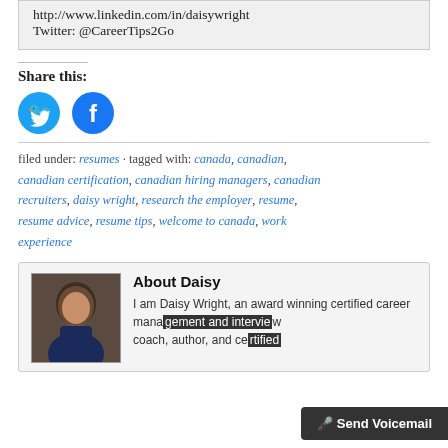http://www.linkedin.com/in/daisywright
Twitter: @CareerTips2Go
Share this:
[Figure (illustration): Twitter and Facebook share icon buttons — blue circles with white bird and 'f' logos]
filed under: resumes · tagged with: canada, canadian, canadian certification, canadian hiring managers, canadian recruiters, daisy wright, research the employer, resume, resume advice, resume tips, welcome to canada, work experience
About Daisy
[Figure (photo): Portrait photo of Daisy Wright, a woman with glasses and dark hair]
I am Daisy Wright, an award winning certified career management and interview coach, author, and ce...